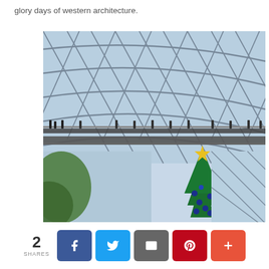glory days of western architecture.
[Figure (photo): Interior view of a large modern glass-and-steel domed structure with a triangular lattice roof. A curved walkway with visitors is visible at mid-level. A decorated Christmas tree with a gold star is in the foreground lower right.]
2 SHARES | Share buttons: Facebook, Twitter, Email, Pinterest, More